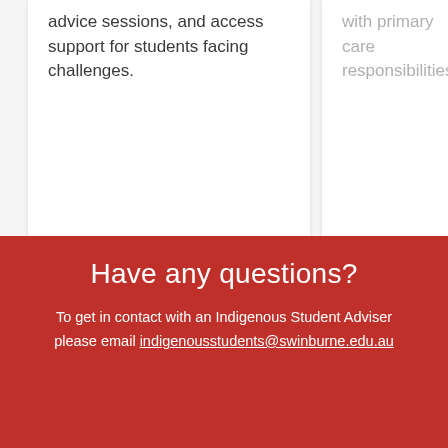advice sessions, and access support for students facing challenges.
with primary care responsibilities.
Learn more →
Learn more →
[Figure (other): Navigation carousel buttons: left arrow button and right arrow button (active/selected)]
Have any questions?
To get in contact with an Indigenous Student Adviser please email indigenousstudents@swinburne.edu.au